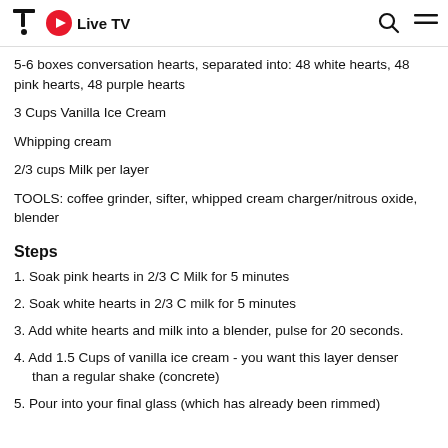Live TV
5-6 boxes conversation hearts, separated into: 48 white hearts, 48 pink hearts, 48 purple hearts
3 Cups Vanilla Ice Cream
Whipping cream
2/3 cups Milk per layer
TOOLS: coffee grinder, sifter, whipped cream charger/nitrous oxide, blender
Steps
1. Soak pink hearts in 2/3 C Milk for 5 minutes
2. Soak white hearts in 2/3 C milk for 5 minutes
3. Add white hearts and milk into a blender, pulse for 20 seconds.
4. Add 1.5 Cups of vanilla ice cream - you want this layer denser than a regular shake (concrete)
5. Pour into your final glass (which has already been rimmed)